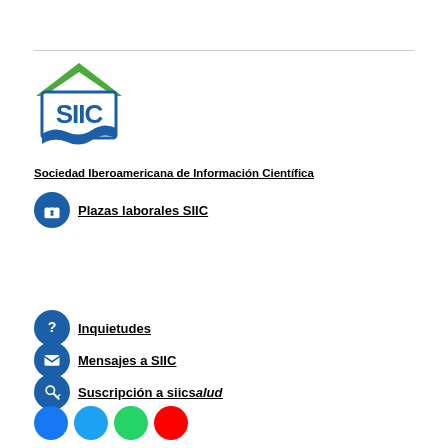[Figure (logo): SIIC logo with green roof shape and blue wave, letters SIIC in blue]
Sociedad Iberoamericana de Información Científica
Plazas laborales SIIC
Inquietudes
Mensajes a SIIC
Suscripción a siicsalud
[Figure (illustration): Row of social media icon circles: Facebook (blue), Twitter/X (cyan), WhatsApp (green), YouTube (red)]